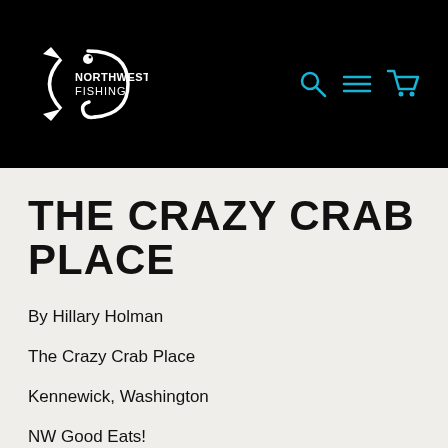[Figure (logo): Northwest Fishing logo with fish graphic and text NORTHWEST FISHING in white on black background, with teal search, menu, and cart icons on the right]
THE CRAZY CRAB PLACE
By Hillary Holman
The Crazy Crab Place
Kennewick, Washington
NW Good Eats!